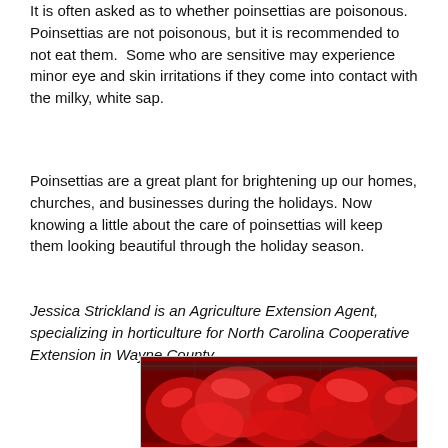It is often asked as to whether poinsettias are poisonous. Poinsettias are not poisonous, but it is recommended to not eat them. Some who are sensitive may experience minor eye and skin irritations if they come into contact with the milky, white sap.
Poinsettias are a great plant for brightening up our homes, churches, and businesses during the holidays. Now knowing a little about the care of poinsettias will keep them looking beautiful through the holiday season.
Jessica Strickland is an Agriculture Extension Agent, specializing in horticulture for North Carolina Cooperative Extension in Wayne County.
[Figure (photo): Photo of red poinsettia plants in a greenhouse setting, showing dense clusters of bright red bracts.]